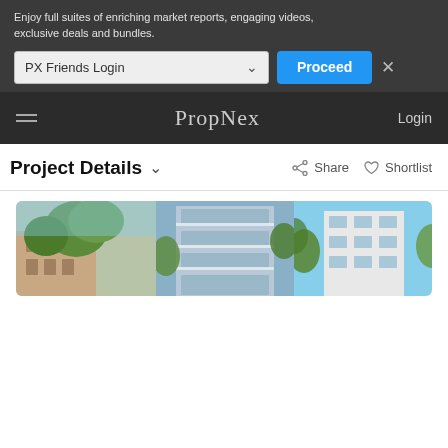Enjoy full suites of enriching market reports, engaging videos, exclusive deals and bundles.
[Figure (screenshot): PX Friends Login dropdown selector and Proceed button with close X]
PropNex  Login
Project Details
Share  Shortlist
[Figure (photo): Property building exterior photo strip showing residential buildings with balconies and trees]